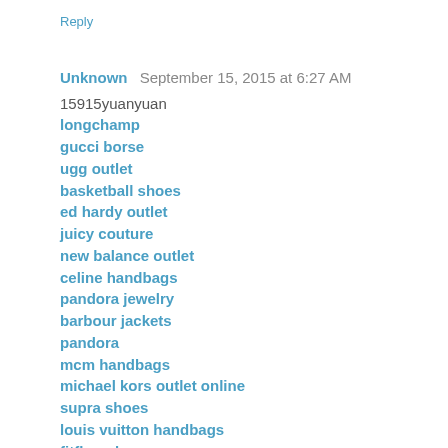Reply
Unknown  September 15, 2015 at 6:27 AM
15915yuanyuan
longchamp
gucci borse
ugg outlet
basketball shoes
ed hardy outlet
juicy couture
new balance outlet
celine handbags
pandora jewelry
barbour jackets
pandora
mcm handbags
michael kors outlet online
supra shoes
louis vuitton handbags
fitflop uk
louboutin